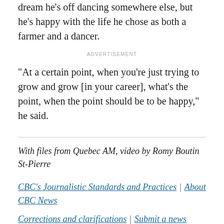dream he's off dancing somewhere else, but he's happy with the life he chose as both a farmer and a dancer.
ADVERTISEMENT
"At a certain point, when you're just trying to grow and grow [in your career], what's the point, when the point should be to be happy," he said.
With files from Quebec AM, video by Romy Boutin St-Pierre
CBC's Journalistic Standards and Practices | About CBC News
Corrections and clarifications | Submit a news tip | Report error